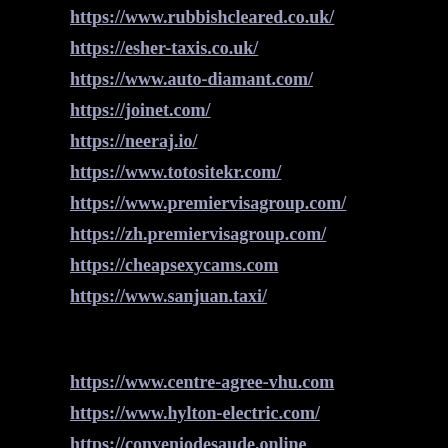https://www.rubbishcleared.co.uk/
https://esher-taxis.co.uk/
https://www.auto-diamant.com/
https://joinet.com/
https://neeraj.io/
https://www.totositekr.com/
https://www.premiervisagroup.com/
https://zh.premiervisagroup.com/
https://cheapsexycams.com
https://www.sanjuan.taxi/
https://www.centre-agree-vhu.com
https://www.hylton-electric.com/
https://conveniodesaude.online
https://www.totopro.org/